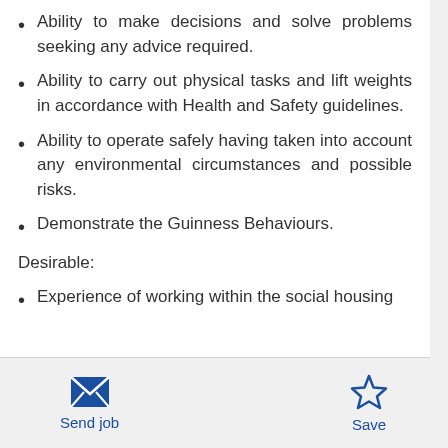Ability to make decisions and solve problems seeking any advice required.
Ability to carry out physical tasks and lift weights in accordance with Health and Safety guidelines.
Ability to operate safely having taken into account any environmental circumstances and possible risks.
Demonstrate the Guinness Behaviours.
Desirable:
Experience of working within the social housing
Send job | Save